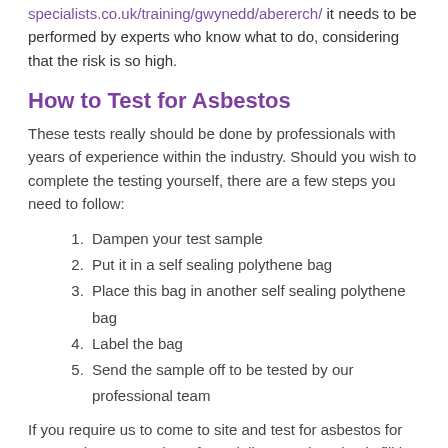specialists.co.uk/training/gwynedd/abererch/ it needs to be performed by experts who know what to do, considering that the risk is so high.
How to Test for Asbestos
These tests really should be done by professionals with years of experience within the industry. Should you wish to complete the testing yourself, there are a few steps you need to follow:
Dampen your test sample
Put it in a self sealing polythene bag
Place this bag in another self sealing polythene bag
Label the bag
Send the sample off to be tested by our professional team
If you require us to come to site and test for asbestos for you, we have a number of specialists nearby. Simply fill in our enquiry form that we have got available and we'll respond to you with a quote and additional information on the tests we can complete.
Asbestos Awareness Test
A significant problem is the fact that you're not able to notice you're